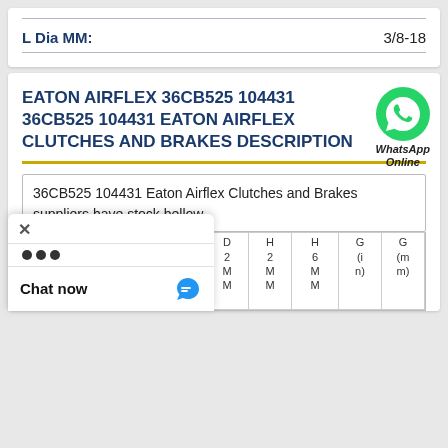| L Dia MM: |
| --- |
| 3/8-18 |
EATON AIRFLEX 36CB525 104431 36CB525 104431 EATON AIRFLEX CLUTCHES AND BRAKES DESCRIPTION
36CB525 104431 Eaton Airflex Clutches and Brakes suppliers have stock bellow
| B r a n d. | G M M | G1 M M | H 7 M M | D 2 M M | H 2 M M | H 6 M M | G (i n) | G (m m) |
| --- | --- | --- | --- | --- | --- | --- | --- | --- |